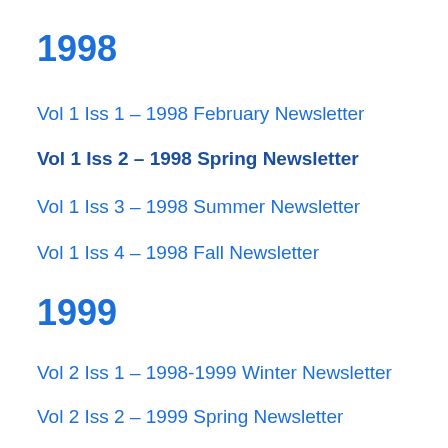1998
Vol 1 Iss 1 – 1998 February Newsletter
Vol 1 Iss 2 – 1998 Spring Newsletter
Vol 1 Iss 3 – 1998 Summer Newsletter
Vol 1 Iss 4 – 1998 Fall Newsletter
1999
Vol 2 Iss 1 – 1998-1999 Winter Newsletter
Vol 2 Iss 2 – 1999 Spring Newsletter
Vol 2 Iss 3 – 1999 Summer Newsletter